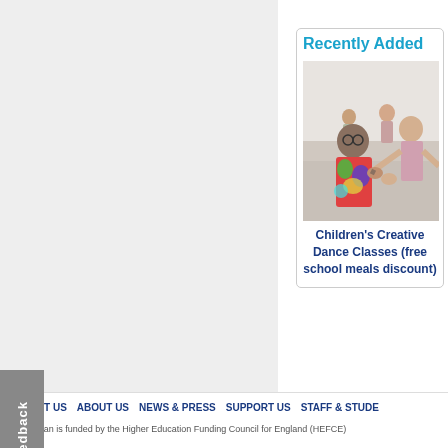Recently Added
[Figure (photo): Children holding hands in a dance class, one child in a colorful tie-dye shirt with glasses in the foreground]
Children's Creative Dance Classes (free school meals discount)
CONTACT US   ABOUT US   NEWS & PRESS   SUPPORT US   STAFF & STUDE
Trinity Laban is funded by the Higher Education Funding Council for England (HEFCE)